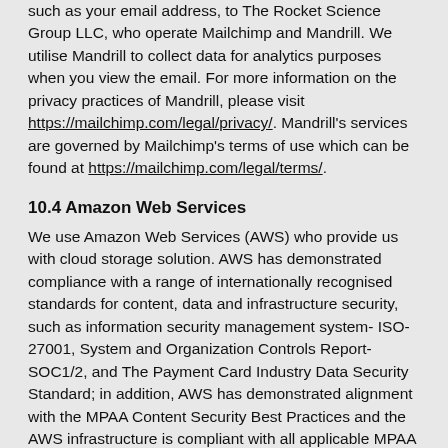such as your email address, to The Rocket Science Group LLC, who operate Mailchimp and Mandrill. We utilise Mandrill to collect data for analytics purposes when you view the email. For more information on the privacy practices of Mandrill, please visit https://mailchimp.com/legal/privacy/. Mandrill's services are governed by Mailchimp's terms of use which can be found at https://mailchimp.com/legal/terms/.
10.4 Amazon Web Services
We use Amazon Web Services (AWS) who provide us with cloud storage solution. AWS has demonstrated compliance with a range of internationally recognised standards for content, data and infrastructure security, such as information security management system- ISO-27001, System and Organization Controls Report- SOC1/2, and The Payment Card Industry Data Security Standard; in addition, AWS has demonstrated alignment with the MPAA Content Security Best Practices and the AWS infrastructure is compliant with all applicable MPAA controls. For more information on AWS' privacy policy